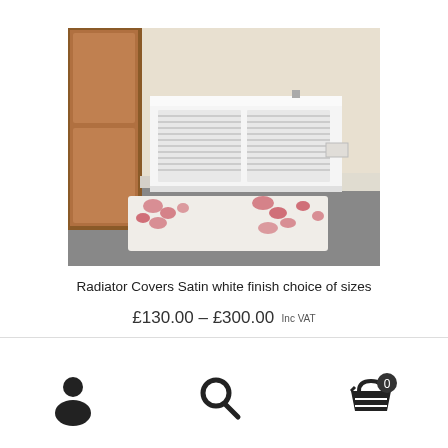[Figure (photo): A white radiator cover with horizontal slatted grille panels, placed against a cream wall in a hallway. A wooden door is visible on the left. A floral patterned rug with red flowers sits in front of the radiator cover on grey carpet.]
Radiator Covers Satin white finish choice of sizes
£130.00 – £300.00 Inc VAT
[Figure (infographic): Bottom navigation bar with three icons: user/account icon, search magnifier icon, and shopping basket icon with badge showing 0]